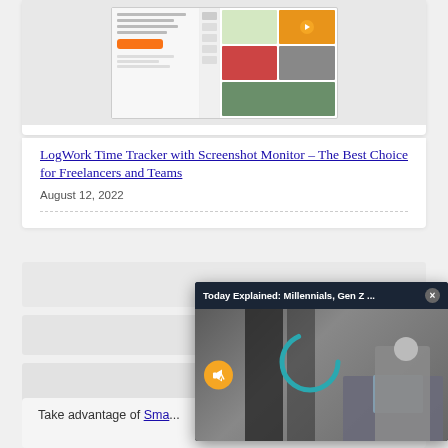[Figure (screenshot): Screenshot thumbnail of LogWork Time Tracker web application interface showing left panel with text and button and right panel with tiled media content including a play button]
LogWork Time Tracker with Screenshot Monitor – The Best Choice for Freelancers and Teams
August 12, 2022
[Figure (screenshot): Video popup overlay titled 'Today Explained: Millennials, Gen Z ...' with a close button (×) showing a video frame of a person sitting at a computer desk with a teal arc spinner and mute button]
Take advantage of Sma...